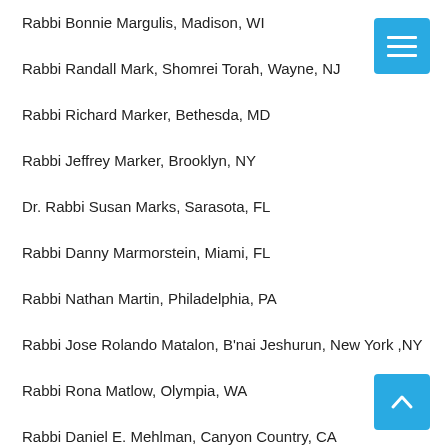Rabbi Bonnie Margulis, Madison, WI
Rabbi Randall Mark, Shomrei Torah, Wayne, NJ
Rabbi Richard Marker, Bethesda, MD
Rabbi Jeffrey Marker, Brooklyn, NY
Dr. Rabbi Susan Marks, Sarasota, FL
Rabbi Danny Marmorstein, Miami, FL
Rabbi Nathan Martin, Philadelphia, PA
Rabbi Jose Rolando Matalon, B'nai Jeshurun, New York ,NY
Rabbi Rona Matlow, Olympia, WA
Rabbi Daniel E. Mehlman, Canyon Country, CA